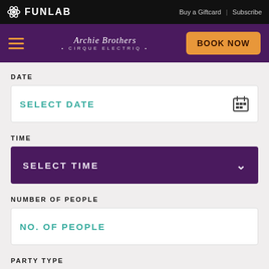FUNLAB | Buy a Giftcard | Subscribe
[Figure (screenshot): Archie Brothers Cirque Electriq sub-navigation bar with hamburger menu and BOOK NOW button]
DATE
SELECT DATE
TIME
SELECT TIME
NUMBER OF PEOPLE
NO. OF PEOPLE
PARTY TYPE